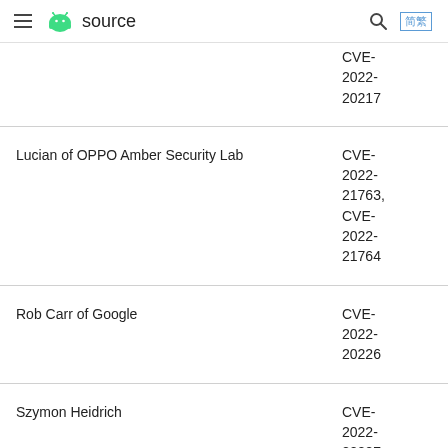≡ android source
| Researcher | CVE |
| --- | --- |
|  | CVE-2022-20217 |
| Lucian of OPPO Amber Security Lab | CVE-2022-21763, CVE-2022-21764 |
| Rob Carr of Google | CVE-2022-20226 |
| Szymon Heidrich | CVE-2022-20227 |